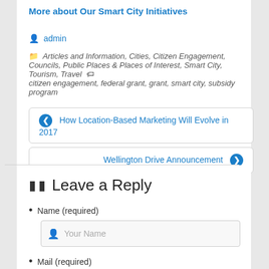More about Our Smart City Initiatives
admin
Articles and Information, Cities, Citizen Engagement, Councils, Public Places & Places of Interest, Smart City, Tourism, Travel
citizen engagement, federal grant, grant, smart city, subsidy program
How Location-Based Marketing Will Evolve in 2017
Wellington Drive Announcement
Leave a Reply
Name (required)
Your Name
Mail (required)
Your Email